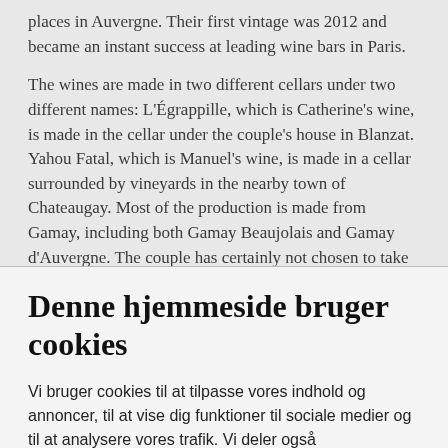places in Auvergne. Their first vintage was 2012 and became an instant success at leading wine bars in Paris.
The wines are made in two different cellars under two different names: L'Égrappille, which is Catherine's wine, is made in the cellar under the couple's house in Blanzat. Yahou Fatal, which is Manuel's wine, is made in a cellar surrounded by vineyards in the nearby town of Chateaugay. Most of the production is made from Gamay, including both Gamay Beaujolais and Gamay d'Auvergne. The couple has certainly not chosen to take the easy path as winegrowers, but instead spends most of their time re-establishing biodiversity in abandoned
Denne hjemmeside bruger cookies
Vi bruger cookies til at tilpasse vores indhold og annoncer, til at vise dig funktioner til sociale medier og til at analysere vores trafik. Vi deler også